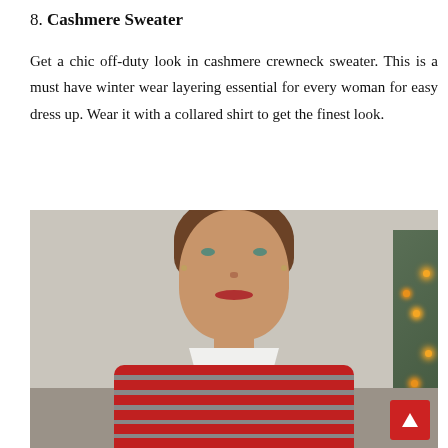8. Cashmere Sweater
Get a chic off-duty look in cashmere crewneck sweater. This is a must have winter wear layering essential for every woman for easy dress up. Wear it with a collared shirt to get the finest look.
[Figure (photo): Woman smiling, wearing a red and grey striped cashmere crewneck sweater over a white collared shirt, photographed against a neutral wall background with a Christmas tree visible on the right side. A red scroll-to-top button appears in the bottom-right corner.]